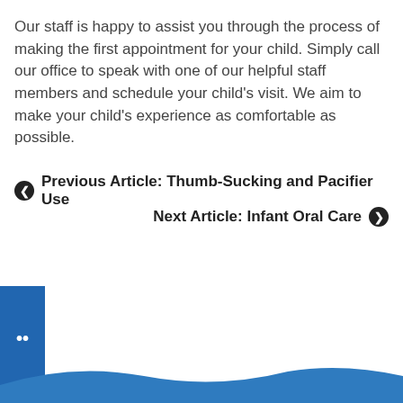Our staff is happy to assist you through the process of making the first appointment for your child. Simply call our office to speak with one of our helpful staff members and schedule your child's visit. We aim to make your child's experience as comfortable as possible.
Previous Article: Thumb-Sucking and Pacifier Use
Next Article: Infant Oral Care